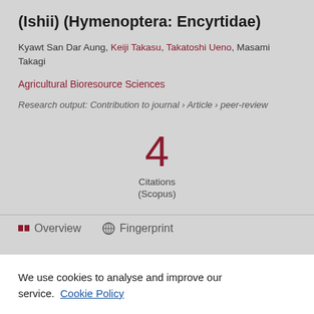(Ishii) (Hymenoptera: Encyrtidae)
Kyawt San Dar Aung, Keiji Takasu, Takatoshi Ueno, Masami Takagi
Agricultural Bioresource Sciences
Research output: Contribution to journal › Article › peer-review
4 Citations (Scopus)
Overview   Fingerprint
We use cookies to analyse and improve our service. Cookie Policy